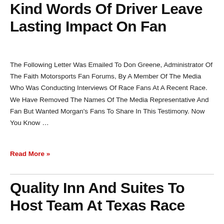Kind Words Of Driver Leave Lasting Impact On Fan
The Following Letter Was Emailed To Don Greene, Administrator Of The Faith Motorsports Fan Forums, By A Member Of The Media Who Was Conducting Interviews Of Race Fans At A Recent Race. We Have Removed The Names Of The Media Representative And Fan But Wanted Morgan's Fans To Share In This Testimony. Now You Know …
Read More »
Quality Inn And Suites To Host Team At Texas Race